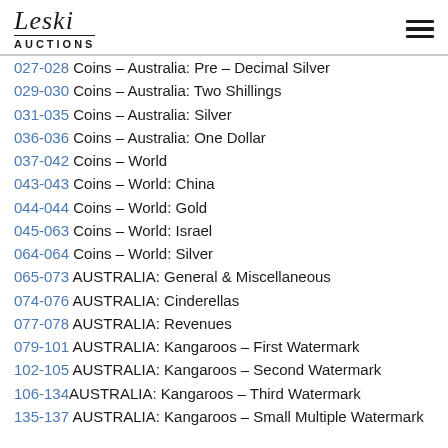Leski Auctions
027-028 Coins – Australia: Pre – Decimal Silver
029-030 Coins – Australia: Two Shillings
031-035 Coins – Australia: Silver
036-036 Coins – Australia: One Dollar
037-042 Coins – World
043-043 Coins – World: China
044-044 Coins – World: Gold
045-063 Coins – World: Israel
064-064 Coins – World: Silver
065-073 AUSTRALIA: General & Miscellaneous
074-076 AUSTRALIA: Cinderellas
077-078 AUSTRALIA: Revenues
079-101 AUSTRALIA: Kangaroos – First Watermark
102-105 AUSTRALIA: Kangaroos – Second Watermark
106-134 AUSTRALIA: Kangaroos – Third Watermark
135-137 AUSTRALIA: Kangaroos – Small Multiple Watermark